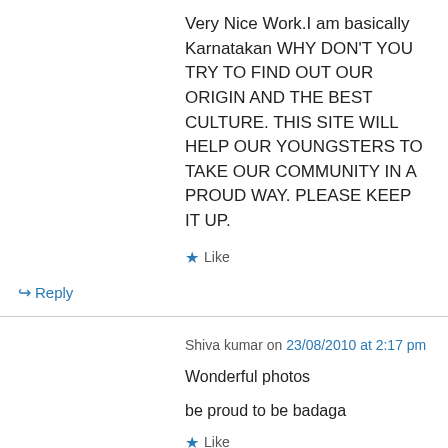Very Nice Work.I am basically Karnatakan WHY DON'T YOU TRY TO FIND OUT OUR ORIGIN AND THE BEST CULTURE. THIS SITE WILL HELP OUR YOUNGSTERS TO TAKE OUR COMMUNITY IN A PROUD WAY. PLEASE KEEP IT UP.
★ Like
↪ Reply
Shiva kumar on 23/08/2010 at 2:17 pm
Wonderful photos
be proud to be badaga
★ Like